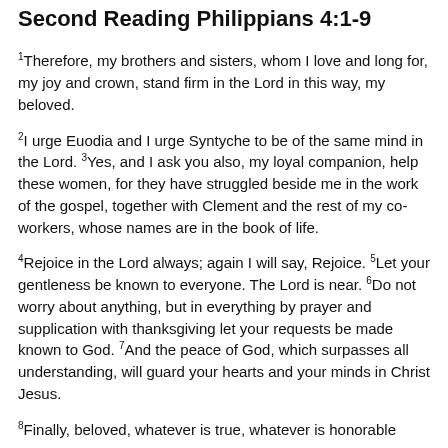Second Reading Philippians 4:1-9
1Therefore, my brothers and sisters, whom I love and long for, my joy and crown, stand firm in the Lord in this way, my beloved.
2I urge Euodia and I urge Syntyche to be of the same mind in the Lord. 3Yes, and I ask you also, my loyal companion, help these women, for they have struggled beside me in the work of the gospel, together with Clement and the rest of my co-workers, whose names are in the book of life.
4Rejoice in the Lord always; again I will say, Rejoice. 5Let your gentleness be known to everyone. The Lord is near. 6Do not worry about anything, but in everything by prayer and supplication with thanksgiving let your requests be made known to God. 7And the peace of God, which surpasses all understanding, will guard your hearts and your minds in Christ Jesus.
8Finally, beloved, whatever is true, whatever is honorable